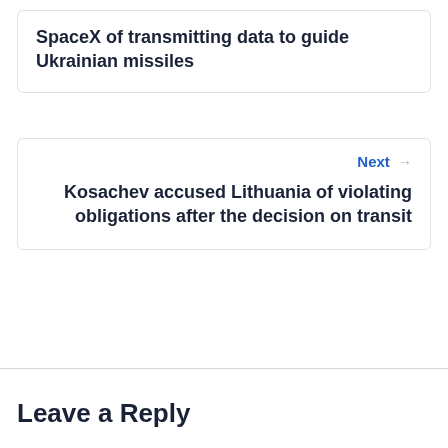SpaceX of transmitting data to guide Ukrainian missiles
Next →
Kosachev accused Lithuania of violating obligations after the decision on transit
Leave a Reply